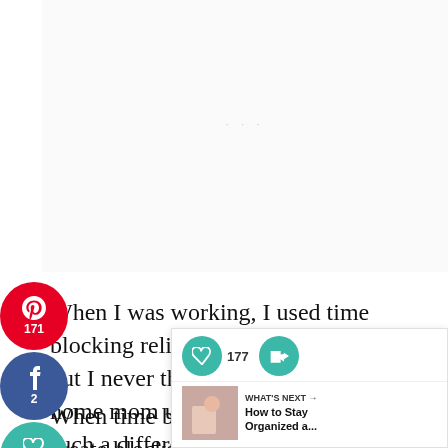[Figure (other): Advertisement placeholder area at top of page with three small gray dots indicating loading]
[Figure (infographic): Social sharing sidebar with Pinterest (171), Facebook (2), Heart/Save (2), and Twitter buttons in circular icons]
When I was working, I used time blocking religiously to stay organized, but I never thought to use it as a stay-at-home mom until recently. But made such a difference in keeping me organized (and keeping my sanity in check)!
When time blocking, the trick is to create blocks of
[Figure (infographic): Floating widget with heart/save button showing 177 saves, a share button, and a 'What's Next' recommendation panel showing 'How to Stay Organized a...' with a thumbnail image]